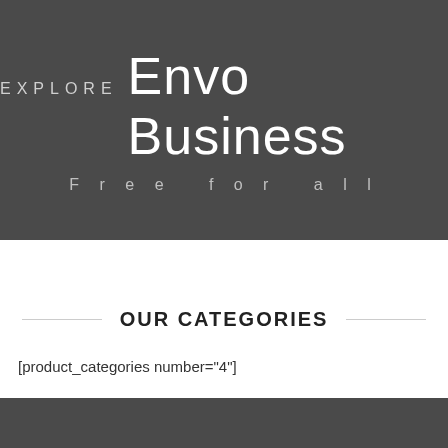[Figure (other): Dark grey banner with text 'EXPLORE Envo Business' in large white letters and subtitle 'Free for all' in spaced grey letters below]
OUR CATEGORIES
[product_categories number="4"]